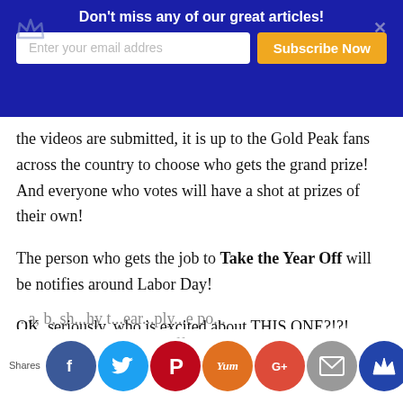Don't miss any of our great articles! | Enter your email address | Subscribe Now
the videos are submitted, it is up to the Gold Peak fans across the country to choose who gets the grand prize! And everyone who votes will have a shot at prizes of their own!
The person who gets the job to Take the Year Off will be notifies around Labor Day!
OK, seriously, who is excited about THIS ONE?!?!
Just to wet your whistle a little more about Gold Peak
...a, b, sh...hy t...ear...ply...e po... complement to...r ye...ff! Al...beca...n, personally,